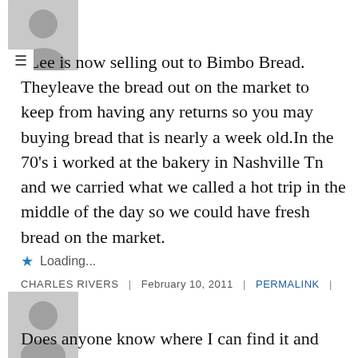[Figure (illustration): Gray placeholder avatar icon of a person silhouette, top of page]
≡ aLee is now selling out to Bimbo Bread. Theyleave the bread out on the market to keep from having any returns so you may buying bread that is nearly a week old.In the 70's i worked at the bakery in Nashville Tn and we carried what we called a hot trip in the middle of the day so we could have fresh bread on the market.
★ Loading...
CHARLES RIVERS | FEBRUARY 10, 2011 | PERMALINK | REPLY
[Figure (illustration): Gray placeholder avatar icon of a person silhouette, bottom section]
Does anyone know where I can find it and have it shipped to...